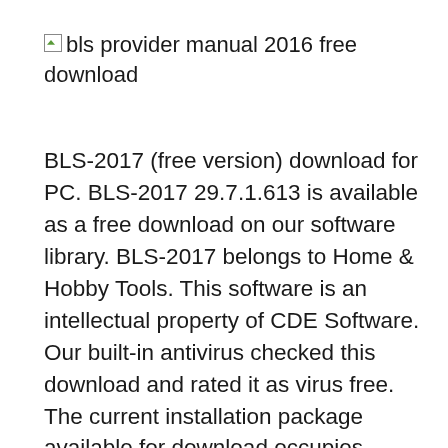[bls provider manual 2016 free download] bls provider manual 2016 free download
BLS-2017 (free version) download for PC. BLS-2017 29.7.1.613 is available as a free download on our software library. BLS-2017 belongs to Home & Hobby Tools. This software is an intellectual property of CDE Software. Our built-in antivirus checked this download and rated it as virus free. The current installation package available for download occupies 100.3 MB on disk. BLS-2017 29.7.1.613 is available as a free download on our software library. BLS-2017 belongs to Home & Hobby Tools. This software is an intellectual